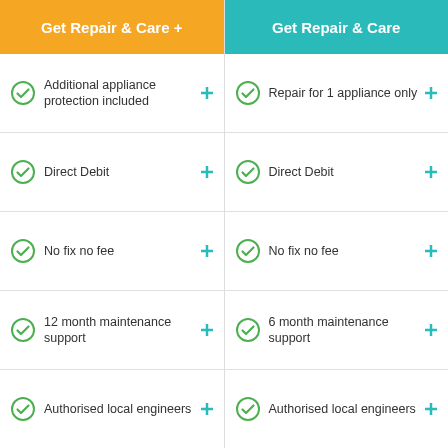Get Repair & Care +
Additional appliance protection included
Direct Debit
No fix no fee
12 month maintenance support
Authorised local engineers
Get Repair & Care
Repair for 1 appliance only
Direct Debit
No fix no fee
6 month maintenance support
Authorised local engineers